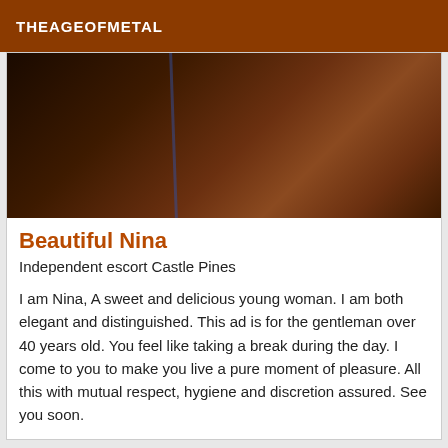THEAGEOFMETAL
[Figure (photo): Dark close-up photo with brown/dark tones and a thin blue vertical line]
Beautiful Nina
Independent escort Castle Pines
I am Nina, A sweet and delicious young woman. I am both elegant and distinguished. This ad is for the gentleman over 40 years old. You feel like taking a break during the day. I come to you to make you live a pure moment of pleasure. All this with mutual respect, hygiene and discretion assured. See you soon.
Online